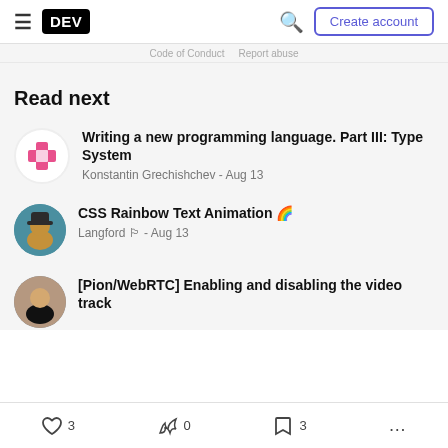DEV | Create account
Code of Conduct   Report abuse
Read next
Writing a new programming language. Part III: Type System
Konstantin Grechishchev - Aug 13
CSS Rainbow Text Animation 🌈
Langford 🏳️ - Aug 13
[Pion/WebRTC] Enabling and disabling the video track
❤ 3   🔥 0   🔖 3   ...